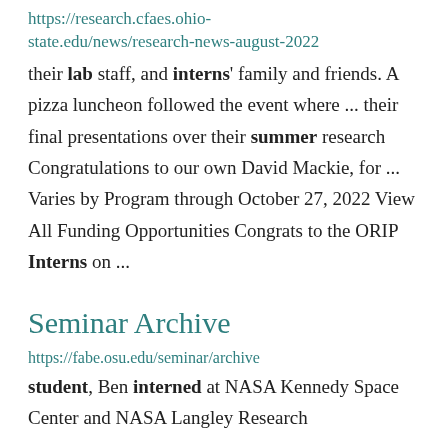https://research.cfaes.ohio-state.edu/news/research-news-august-2022
their lab staff, and interns' family and friends. A pizza luncheon followed the event where ... their final presentations over their summer research Congratulations to our own David Mackie, for ... Varies by Program through October 27, 2022 View All Funding Opportunities Congrats to the ORIP Interns on ...
Seminar Archive
https://fabe.osu.edu/seminar/archive
student, Ben interned at NASA Kennedy Space Center and NASA Langley Research